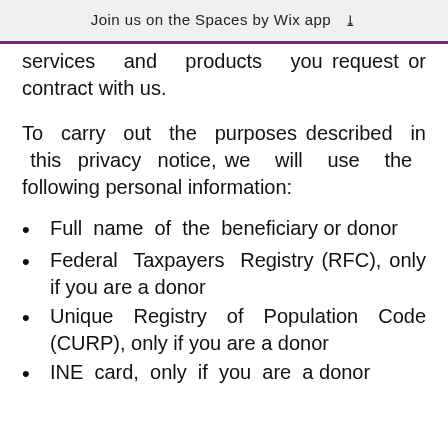Join us on the Spaces by Wix app ↓
services and products you request or contract with us.
To carry out the purposes described in this privacy notice, we will use the following personal information:
Full name of the beneficiary or donor
Federal Taxpayers Registry (RFC), only if you are a donor
Unique Registry of Population Code (CURP), only if you are a donor
INE card, only if you are a donor